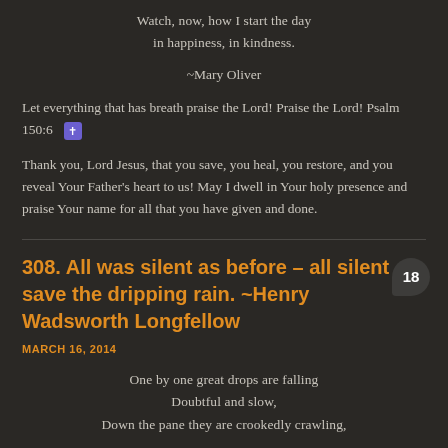Watch, now, how I start the day
in happiness, in kindness.
~Mary Oliver
Let everything that has breath praise the Lord! Praise the Lord! Psalm 150:6 ✝
Thank you, Lord Jesus, that you save, you heal, you restore, and you reveal Your Father's heart to us! May I dwell in Your holy presence and praise Your name for all that you have given and done.
308. All was silent as before – all silent save the dripping rain. ~Henry Wadsworth Longfellow
MARCH 16, 2014
One by one great drops are falling
Doubtful and slow,
Down the pane they are crookedly crawling,